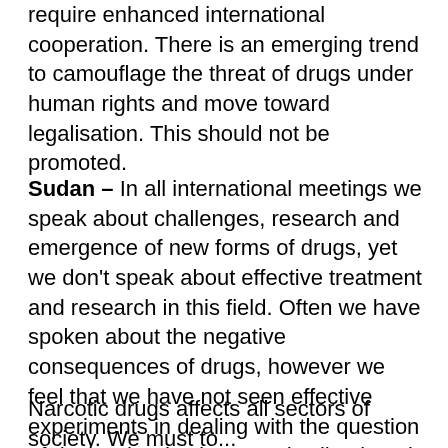require enhanced international cooperation. There is an emerging trend to camouflage the threat of drugs under human rights and move toward legalisation. This should not be promoted.
Sudan – In all international meetings we speak about challenges, research and emergence of new forms of drugs, yet we don't speak about effective treatment and research in this field. Often we have spoken about the negative consequences of drugs, however we feel that we have not seen effective experiments in dealing with the question of demand reduction. We dwell at length on supply reduction.
Narcotic drugs affects all sectors of society. We must...